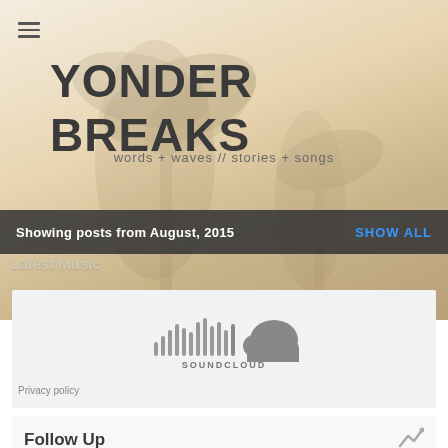≡
YONDER BREAKS
words + waves // stories + songs
Showing posts from August, 2015
SHOW ALL
Latest Music
[Figure (logo): SoundCloud logo with waveform bars and cloud icon, with text SOUNDCLOUD below]
Privacy policy
Follow Up